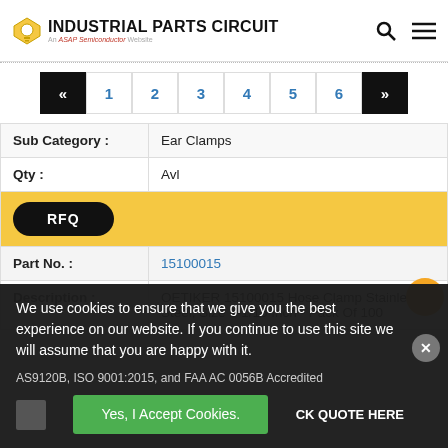[Figure (logo): Industrial Parts Circuit logo with lightbulb icon and ASAP Semiconductor subtitle]
[Figure (infographic): Pagination bar with arrows and page numbers 1-6]
| Sub Category : | Ear Clamps |
| Qty : | Avl |
| RFQ |  |
| Part No. : | 15100015 |
| Description : | OETIKER 15100015 Hose Clamp Stainless Steel, Size 1-1/16 Inch - Pack Of 100 |
We use cookies to ensure that we give you the best experience on our website. If you continue to use this site we will assume that you are happy with it.
AS9120B, ISO 9001:2015, and FAA AC 0056B Accredited
CK QUOTE HERE